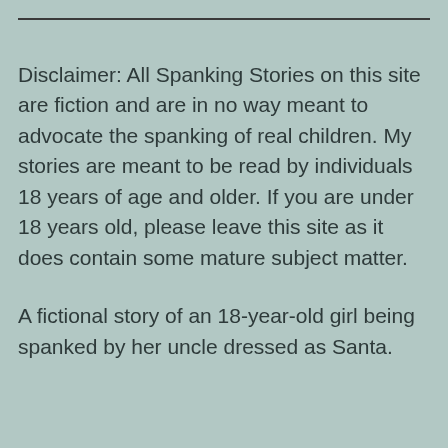Disclaimer: All Spanking Stories on this site are fiction and are in no way meant to advocate the spanking of real children. My stories are meant to be read by individuals 18 years of age and older. If you are under 18 years old, please leave this site as it does contain some mature subject matter.
A fictional story of an 18-year-old girl being spanked by her uncle dressed as Santa. Enjoy!! Stay committed. HeartBeautifulSa...